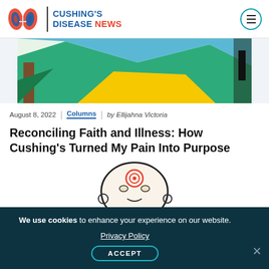[Figure (logo): Cushing's Disease News logo with kidney illustration, brand name in blue and red]
[Figure (illustration): Colorful abstract landscape illustration with teal, yellow and brown tones, partial view]
August 8, 2022 | Columns | by Ellijahna Victoria
Reconciling Faith and Illness: How Cushing's Turned My Pain Into Purpose
[Figure (illustration): Hand-drawn illustration of a round figure with red mark on forehead, appears to be a person with Cushing's symptoms]
We use cookies to enhance your experience on our website. Privacy Policy ACCEPT